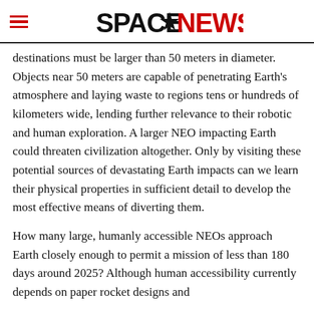SPACENEWS
destinations must be larger than 50 meters in diameter. Objects near 50 meters are capable of penetrating Earth's atmosphere and laying waste to regions tens or hundreds of kilometers wide, lending further relevance to their robotic and human exploration. A larger NEO impacting Earth could threaten civilization altogether. Only by visiting these potential sources of devastating Earth impacts can we learn their physical properties in sufficient detail to develop the most effective means of diverting them.
How many large, humanly accessible NEOs approach Earth closely enough to permit a mission of less than 180 days around 2025? Although human accessibility currently depends on paper rocket designs and